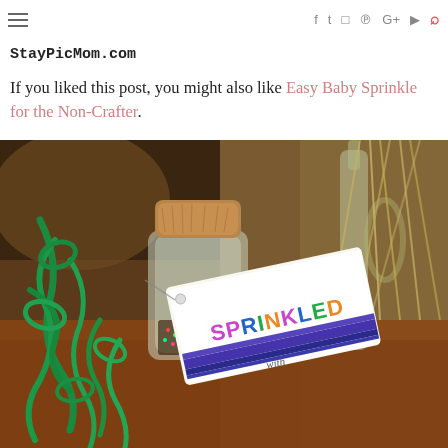≡  f  t  ☐  ℗  G+  ▶  🔍
StayPicMom.com
If you liked this post, you might also like Easy Baby Sprinkle for the Non-Crafter.
[Figure (photo): Close-up photo of a small glass jar with a cork stopper, wrapped in green curling ribbon, with a tag that reads 'SPRINKLED' in colorful letters. A larger glass bottle with sticks is visible in the background.]